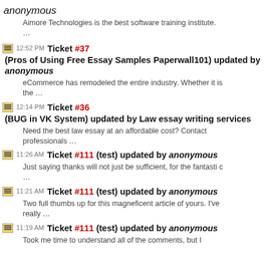anonymous
Aimore Technologies is the best software training institute. ...
12:52 PM Ticket #37 (Pros of Using Free Essay Samples Paperwall101) updated by anonymous
eCommerce has remodeled the entire industry. Whether it is the ...
12:14 PM Ticket #36 (BUG in VK System) updated by Law essay writing services
Need the best law essay at an affordable cost? Contact professionals ...
11:26 AM Ticket #111 (test) updated by anonymous
Just saying thanks will not just be sufficient, for the fantasti c ...
11:21 AM Ticket #111 (test) updated by anonymous
Two full thumbs up for this magneficent article of yours. I've really ...
11:19 AM Ticket #111 (test) updated by anonymous
Took me time to understand all of the comments, but I